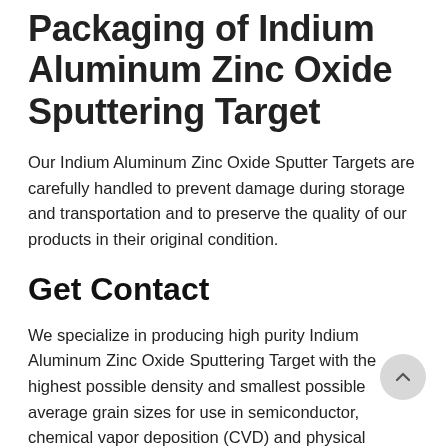Packaging of Indium Aluminum Zinc Oxide Sputtering Target
Our Indium Aluminum Zinc Oxide Sputter Targets are carefully handled to prevent damage during storage and transportation and to preserve the quality of our products in their original condition.
Get Contact
We specialize in producing high purity Indium Aluminum Zinc Oxide Sputtering Target with the highest possible density and smallest possible average grain sizes for use in semiconductor, chemical vapor deposition (CVD) and physical